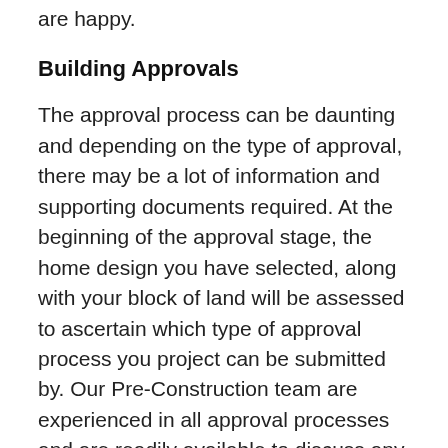are happy.
Building Approvals
The approval process can be daunting and depending on the type of approval, there may be a lot of information and supporting documents required. At the beginning of the approval stage, the home design you have selected, along with your block of land will be assessed to ascertain which type of approval process you project can be submitted by. Our Pre-Construction team are experienced in all approval processes and are readily available to discuss any queries you may have